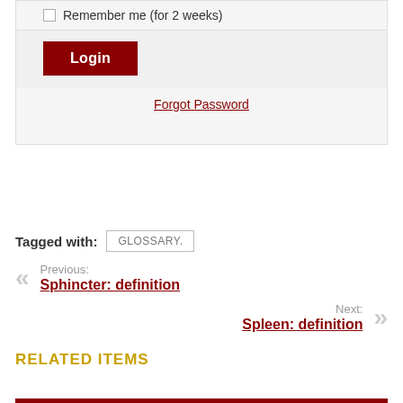Remember me (for 2 weeks)
Login
Forgot Password
Tagged with: GLOSSARY.
Previous: Sphincter: definition
Next: Spleen: definition
RELATED ITEMS